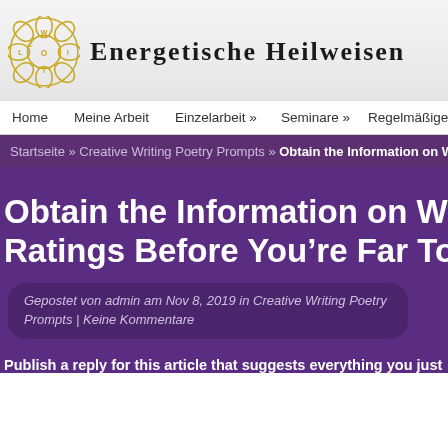[Figure (logo): Circular ornamental logo with letters W, L, O, E, T arranged in petals, gold/yellow color]
Energetische Heilweisen
Home   Meine Arbeit   Einzelarbeit »   Seminare »   Regelmäßige Ve
Startseite » Creative Writing Poetry Prompts » Obtain the Information on We D
Obtain the Information on We Do Yo Ratings Before You're Far Too Late
Gepostet von admin am Nov 8, 2019 in Creative Writing Poetry Prompts | Keine Kommentare
Publish a reply for this article that suggests everything you just take under con